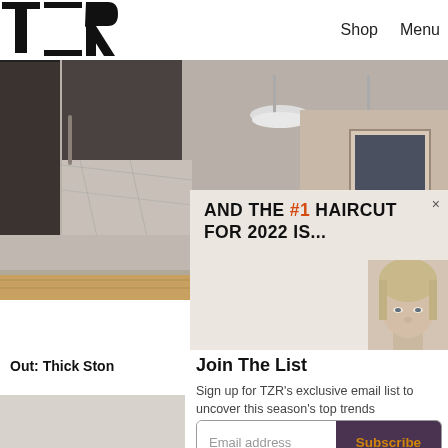[Figure (logo): TZR logo in black block letters, top-left corner]
Shop   Menu
[Figure (photo): Interior kitchen photo with dark wood cabinets, marble backsplash, and industrial pendant lights]
AND THE #1 HAIRCUT FOR 2022 IS...
[Figure (photo): Cropped portrait of a blonde woman's face, bottom-right of the modal overlay]
Join The List
Sign up for TZR's exclusive email list to uncover this season's top trends
Out: Thick Ston
Email address
Subscribe